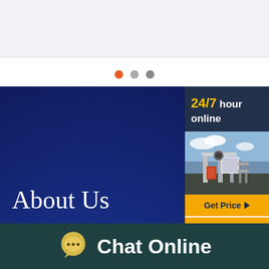[Figure (screenshot): Top navigation bar / header area, light gray background]
[Figure (infographic): Three dots pagination indicator: orange, gray, gray]
[Figure (infographic): Blue background 'About Us' section with stats: 689+ Manufacturing Machine, 170+ Nations Services Covered]
About Us
689 + Manufacturing Machine
170 + Nations Services Covered
[Figure (infographic): Right sidebar with 24/7 hour online label, machinery photo, Get Price button, Quoting Online button]
24/7 hour online
Get Price
Quoting Online
Chat Online